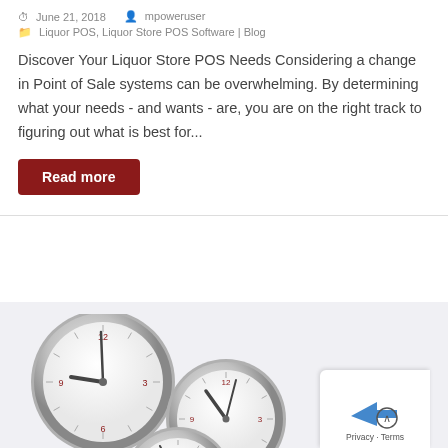June 21, 2018   mpoweruser
Liquor POS, Liquor Store POS Software | Blog
Discover Your Liquor Store POS Needs Considering a change in Point of Sale systems can be overwhelming. By determining what your needs - and wants - are, you are on the right track to figuring out what is best for...
Read more
[Figure (illustration): Three analog clocks with silver/chrome bezels and white faces with red hour markers, arranged overlapping at varying sizes on a light gray background. A partial fourth clock is visible at the bottom edge.]